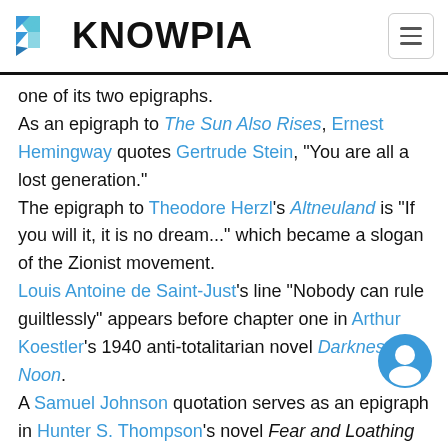KNOWPIA
one of its two epigraphs. As an epigraph to The Sun Also Rises, Ernest Hemingway quotes Gertrude Stein, "You are all a lost generation." The epigraph to Theodore Herzl's Altneuland is "If you will it, it is no dream..." which became a slogan of the Zionist movement. Louis Antoine de Saint-Just's line "Nobody can rule guiltlessly" appears before chapter one in Arthur Koestler's 1940 anti-totalitarian novel Darkness at Noon. A Samuel Johnson quotation serves as an epigraph in Hunter S. Thompson's novel Fear and Loathing in Las Vegas: "He who makes a beast of himself gets rid of